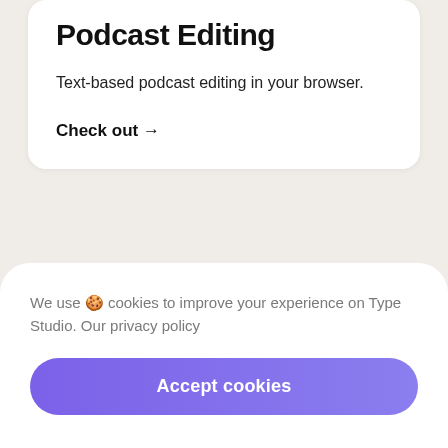Podcast Editing
Text-based podcast editing in your browser.
Check out →
We use 🍪 cookies to improve your experience on Type Studio. Our privacy policy
Accept cookies